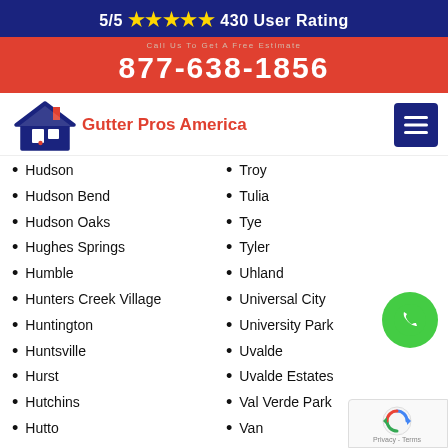5/5 ★★★★★ 430 User Rating
877-638-1856
[Figure (logo): Gutter Pros America logo with house icon]
Hudson
Troy
Hudson Bend
Tulia
Hudson Oaks
Tye
Hughes Springs
Tyler
Humble
Uhland
Hunters Creek Village
Universal City
Huntington
University Park
Huntsville
Uvalde
Hurst
Uvalde Estates
Hutchins
Val Verde Park
Hutto
Van
Idalou
Van Alstyne
Indian Hills
Van Horn
Inez
Van Vleck